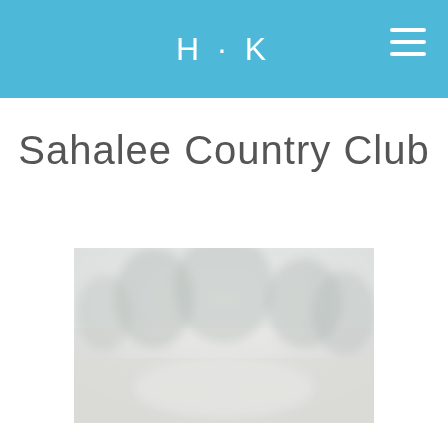H·K
Sahalee Country Club
[Figure (photo): Blurred outdoor photo of a golf course or landscape at Sahalee Country Club, showing trees and open grounds in muted gray-green tones]